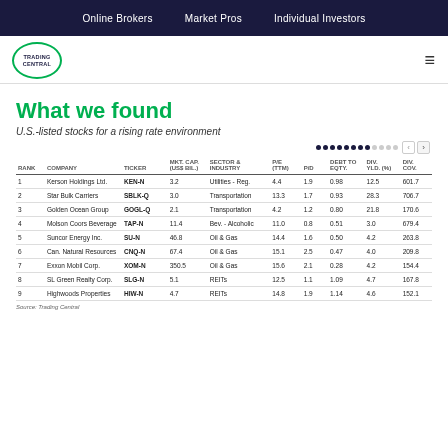Online Brokers | Market Pros | Individual Investors
[Figure (logo): Trading Central oval logo]
What we found
U.S.-listed stocks for a rising rate environment
| RANK | COMPANY | TICKER | MKT. CAP. (US$ BIL.) | SECTOR & INDUSTRY | P/E (TTM) | P/D | DEBT TO EQTY. | DIV. YLD. (%) | DIV. COV. |
| --- | --- | --- | --- | --- | --- | --- | --- | --- | --- |
| 1 | Kerson Holdings Ltd. | KEN-N | 3.2 | Utilities - Reg. | 4.4 | 1.9 | 0.98 | 12.5 | 601.7 |
| 2 | Star Bulk Carriers | SBLK-Q | 3.0 | Transportation | 13.3 | 1.7 | 0.93 | 28.3 | 706.7 |
| 3 | Golden Ocean Group | GOGL-Q | 2.1 | Transportation | 4.2 | 1.2 | 0.80 | 21.8 | 170.6 |
| 4 | Molson Coors Beverage | TAP-N | 11.4 | Bev. - Alcoholic | 11.0 | 0.8 | 0.51 | 3.0 | 679.4 |
| 5 | Suncor Energy Inc. | SU-N | 46.8 | Oil & Gas | 14.4 | 1.6 | 0.50 | 4.2 | 263.8 |
| 6 | Can. Natural Resources | CNQ-N | 67.4 | Oil & Gas | 15.1 | 2.5 | 0.47 | 4.0 | 209.8 |
| 7 | Exxon Mobil Corp. | XOM-N | 350.5 | Oil & Gas | 15.6 | 2.1 | 0.28 | 4.2 | 154.4 |
| 8 | SL Green Realty Corp. | SLG-N | 5.1 | REITs | 12.5 | 1.1 | 1.09 | 4.7 | 167.8 |
| 9 | Highwoods Properties | HIW-N | 4.7 | REITs | 14.8 | 1.9 | 1.14 | 4.6 | 152.1 |
Source: Trading Central